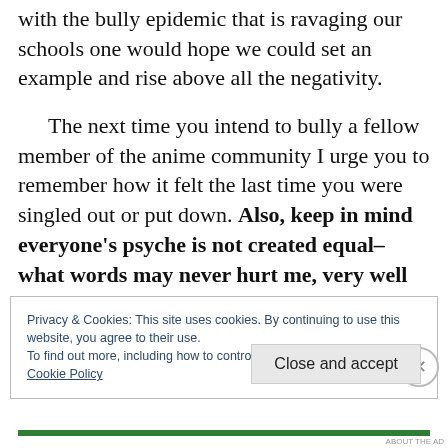with the bully epidemic that is ravaging our schools one would hope we could set an example and rise above all the negativity.
The next time you intend to bully a fellow member of the anime community I urge you to remember how it felt the last time you were singled out or put down. Also, keep in mind everyone's psyche is not created equal–what words may never hurt me, very well may break your bones.
Privacy & Cookies: This site uses cookies. By continuing to use this website, you agree to their use.
To find out more, including how to control cookies, see here: Cookie Policy